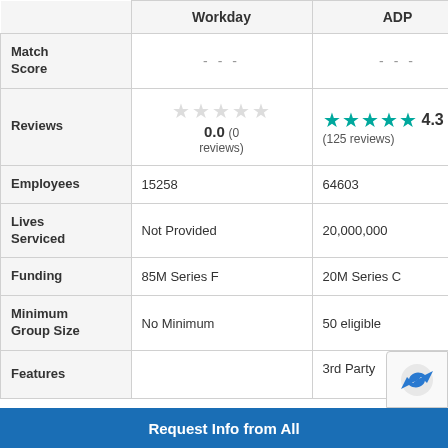|  | Workday | ADP |
| --- | --- | --- |
| Match Score | - - - | - - - |
| Reviews | 0.0 (0 reviews) | 4.3 (125 reviews) |
| Employees | 15258 | 64603 |
| Lives Serviced | Not Provided | 20,000,000 |
| Funding | 85M Series F | 20M Series C |
| Minimum Group Size | No Minimum | 50 eligible |
| Features |  | 3rd Party |
Request Info from All